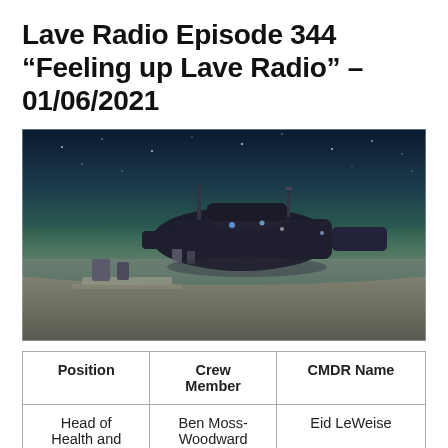Lave Radio Episode 344 “Feeling up Lave Radio” – 01/06/2021
[Figure (photo): A sci-fi video game screenshot showing a spaceship or space station on a barren planet surface under a dark starry sky with a teal horizon glow.]
| Position | Crew Member | CMDR Name |
| --- | --- | --- |
| Head of Health and | Ben Moss-Woodward | Eid LeWeise |